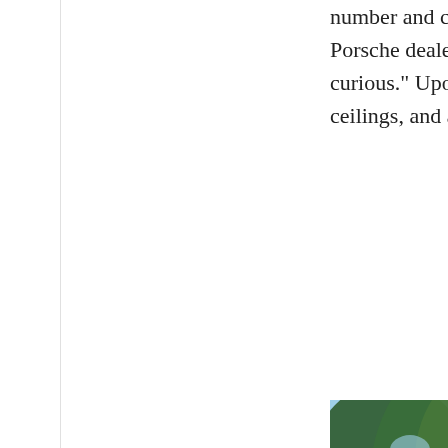number and called… Porsche dealership… curious." Upon fin… ceilings, and a coo…
[Figure (photo): Outdoor photograph showing large green trees with leafy canopy against a light blue sky, with what appears to be a building structure partially visible behind the trees]